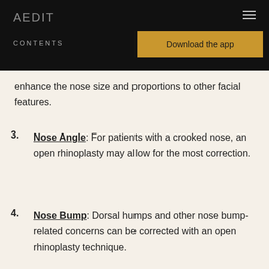AEDIT
CONTENTS
Download the app
enhance the nose size and proportions to other facial features.
3. Nose Angle: For patients with a crooked nose, an open rhinoplasty may allow for the most correction.
4. Nose Bump: Dorsal humps and other nose bump-related concerns can be corrected with an open rhinoplasty technique.
5. Cosmetic Breathing Issues: Nose shape plays an